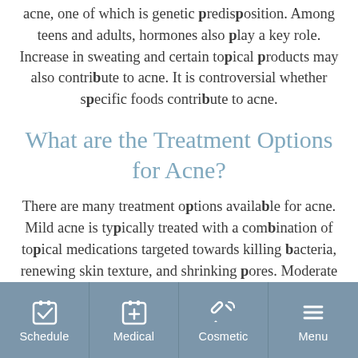acne, one of which is genetic predisposition. Among teens and adults, hormones also play a key role. Increase in sweating and certain topical products may also contribute to acne. It is controversial whether specific foods contribute to acne.
What are the Treatment Options for Acne?
There are many treatment options available for acne. Mild acne is typically treated with a combination of topical medications targeted towards killing bacteria, renewing skin texture, and shrinking pores. Moderate to severe acne may require oral medications such as oral antibiotics or anti-androgen medications in
Schedule | Medical | Cosmetic | Menu